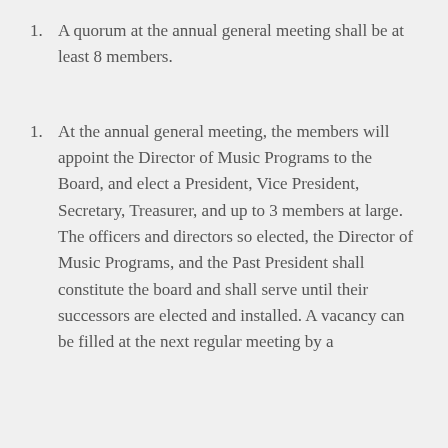1. A quorum at the annual general meeting shall be at least 8 members.
1. At the annual general meeting, the members will appoint the Director of Music Programs to the Board, and elect a President, Vice President, Secretary, Treasurer, and up to 3 members at large. The officers and directors so elected, the Director of Music Programs, and the Past President shall constitute the board and shall serve until their successors are elected and installed. A vacancy can be filled at the next regular meeting by a